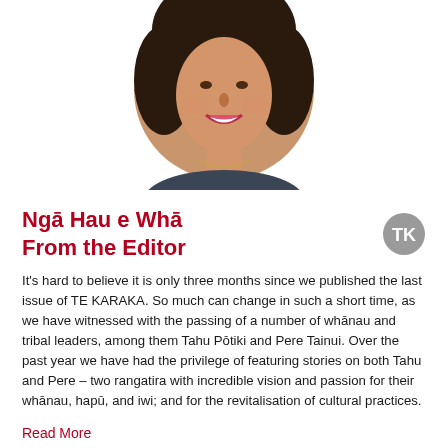[Figure (photo): Circular portrait photo of a woman with curly dark hair, smiling, wearing a necklace]
Ngā Hau e Whā
From the Editor
It's hard to believe it is only three months since we published the last issue of TE KARAKA. So much can change in such a short time, as we have witnessed with the passing of a number of whānau and tribal leaders, among them Tahu Pōtiki and Pere Tainui. Over the past year we have had the privilege of featuring stories on both Tahu and Pere – two rangatira with incredible vision and passion for their whānau, hapū, and iwi; and for the revitalisation of cultural practices.
Read More